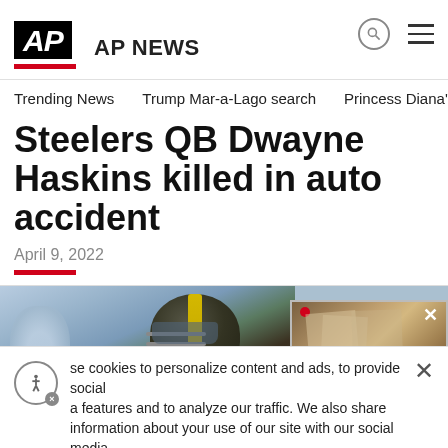AP | AP NEWS
Trending News    Trump Mar-a-Lago search    Princess Diana's dea
Steelers QB Dwayne Haskins killed in auto accident
April 9, 2022
[Figure (photo): Photo of Dwayne Haskins in a Steelers helmet on the field, with an overlaid video panel showing 'Feds cite efforts to' caption]
se cookies to personalize content and ads, to provide social a features and to analyze our traffic. We also share information about your use of our site with our social media,